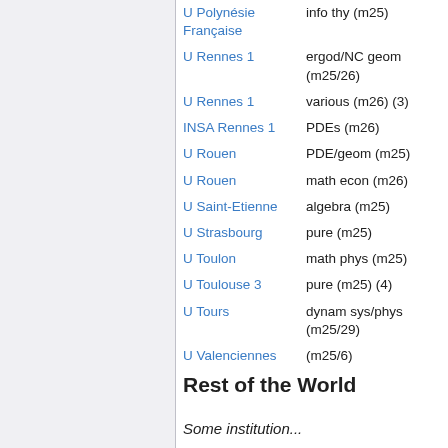| Institution | Details |
| --- | --- |
| U Polynésie Française | info thy (m25) |
| U Rennes 1 | ergod/NC geom (m25/26) |
| U Rennes 1 | various (m26) (3) |
| INSA Rennes 1 | PDEs (m26) |
| U Rouen | PDE/geom (m25) |
| U Rouen | math econ (m26) |
| U Saint-Etienne | algebra (m25) |
| U Strasbourg | pure (m25) |
| U Toulon | math phys (m25) |
| U Toulouse 3 | pure (m25) (4) |
| U Tours | dynam sys/phys (m25/29) |
| U Valenciennes | (m25/6) |
Rest of the World
Some institution...